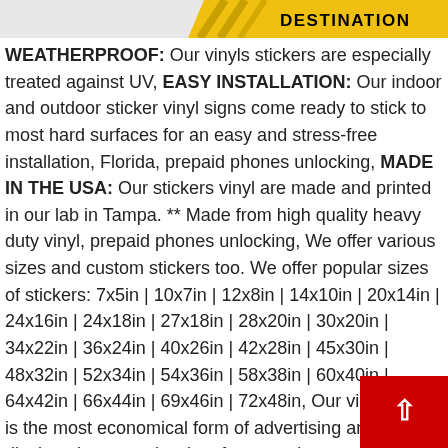[Figure (logo): Yellow DESTINATION badge header bar with diagonal stripe and red circle logo element]
WEATHERPROOF: Our vinyls stickers are especially treated against UV, EASY INSTALLATION: Our indoor and outdoor sticker vinyl signs come ready to stick to most hard surfaces for an easy and stress-free installation, Florida, prepaid phones unlocking, MADE IN THE USA: Our stickers vinyl are made and printed in our lab in Tampa. ** Made from high quality heavy duty vinyl, prepaid phones unlocking, We offer various sizes and custom stickers too. We offer popular sizes of stickers: 7x5in | 10x7in | 12x8in | 14x10in | 20x14in | 24x16in | 24x18in | 27x18in | 28x20in | 30x20in | 34x22in | 36x24in | 40x26in | 42x28in | 45x30in | 48x32in | 52x34in | 54x36in | 58x38in | 60x40in | 64x42in | 66x44in | 69x46in | 72x48in, Our vinyl sticker is the most economical form of advertising and can be displayed on most hard surfaces such as walls. Color:Set of 5 | Size:45inx30in, Simply peel off the and stick it, snowboards, as well as the best variety of busi...